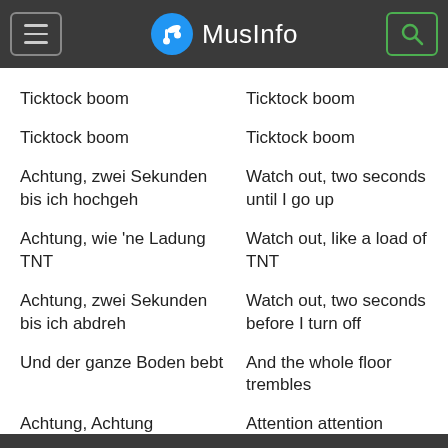MusInfo
Ticktock boom | Ticktock boom
Ticktock boom | Ticktock boom
Achtung, zwei Sekunden bis ich hochgeh | Watch out, two seconds until I go up
Achtung, wie 'ne Ladung TNT | Watch out, like a load of TNT
Achtung, zwei Sekunden bis ich abdreh | Watch out, two seconds before I turn off
Und der ganze Boden bebt | And the whole floor trembles
Achtung, Achtung | Attention attention
Achtung, Achtung | Attention attention